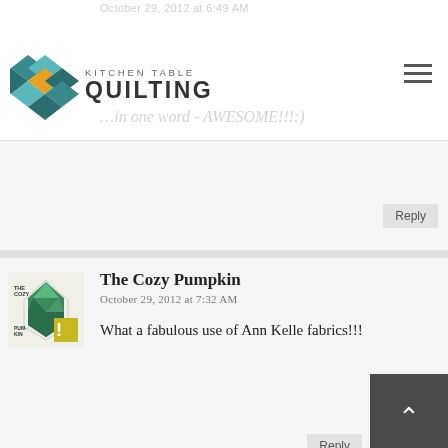Kitchen Table Quilting
October 29, 2012 at 6:49 AM
...in one word - AWESOME!!!:)
Reply
The Cozy Pumpkin
October 29, 2012 at 7:32 AM
What a fabulous use of Ann Kelle fabrics!!!
Reply
sonia
October 29, 2012 at 2:17 PM
Wonderful quilt! Congrats!
Reply